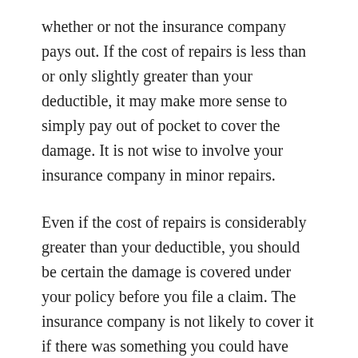whether or not the insurance company pays out. If the cost of repairs is less than or only slightly greater than your deductible, it may make more sense to simply pay out of pocket to cover the damage. It is not wise to involve your insurance company in minor repairs.
Even if the cost of repairs is considerably greater than your deductible, you should be certain the damage is covered under your policy before you file a claim. The insurance company is not likely to cover it if there was something you could have done in terms of regular maintenance to prevent the damage. For example, if your roof was in need of repairs and collapsed after a heavy snowfall, your insurer is likely to deny your claim for a new roof.